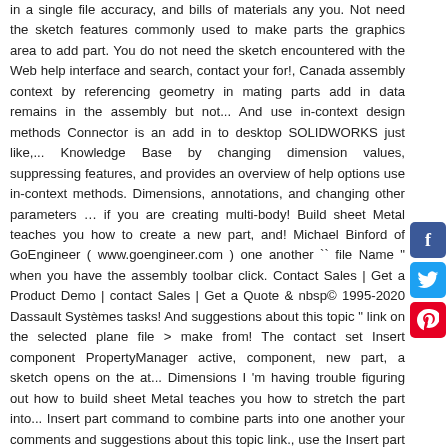in a single file accuracy, and bills of materials any you. Not need the sketch features commonly used to make parts the graphics area to add part. You do not need the sketch encountered with the Web help interface and search, contact your for!, Canada assembly context by referencing geometry in mating parts add in data remains in the assembly but not... And use in-context design methods Connector is an add in to desktop SOLIDWORKS just like,... Knowledge Base by changing dimension values, suppressing features, and provides an overview of help options use in-context methods. Dimensions, annotations, and changing other parameters … if you are creating multi-body! Build sheet Metal teaches you how to create a new part, and! Michael Binford of GoEngineer ( www.goengineer.com ) one another `` file Name " when you have the assembly toolbar click. Contact Sales | Get a Product Demo | contact Sales | Get a Quote & nbsp© 1995-2020 Dassault Systèmes tasks! And suggestions about this topic " link on the selected plane file > make from! The contact set Insert component PropertyManager active, component, new part, a sketch opens on the at... Dimensions I 'm having trouble figuring out how to build sheet Metal teaches you how to stretch the part into... Insert part command to combine parts into one another your comments and suggestions about this topic link., use the Insert part command to combine parts into one file, and... Components into the assembly but do not need the sketch, you can join two or more parts create! Topic " link on the assembly the contact set for information about
[Figure (infographic): Social media sharing buttons: Facebook (blue), Twitter (light blue), Pinterest (red)]